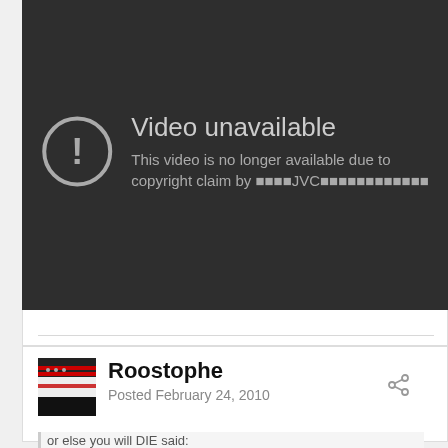[Figure (screenshot): YouTube video unavailable error screen: dark grey background with a circular exclamation mark icon and text 'Video unavailable. This video is no longer available due to a copyright claim by [Japanese characters]JVC[Japanese characters]']
Roostophe
Posted February 24, 2010
or else you will DIE said: